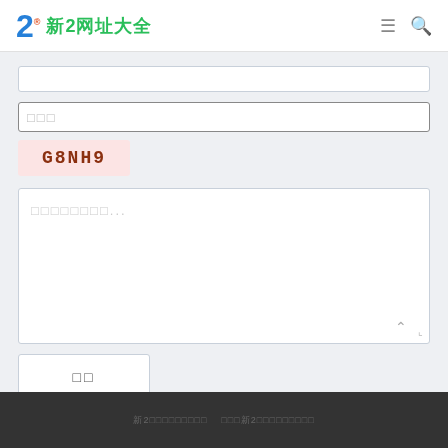2 新2网址大全
[Figure (screenshot): Input field (top, partially visible)]
[Figure (screenshot): Text input field with placeholder squares]
[Figure (screenshot): CAPTCHA image showing G8NH9 on pink background]
[Figure (screenshot): Textarea with placeholder squares and ellipsis, with resize handle]
[Figure (screenshot): Submit button with two placeholder squares]
新2网址大全实地址   最新新2网址大全实地址